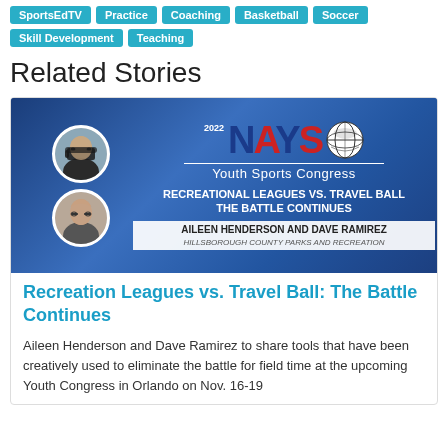SportsEdTV | Practice | Coaching | Basketball | Soccer | Skill Development | Teaching
Related Stories
[Figure (photo): NAYS 2022 Youth Sports Congress banner featuring two circular headshots (a man with sunglasses and a woman with glasses), NAYS logo in red and blue, globe icon, and text: RECREATIONAL LEAGUES VS. TRAVEL BALL THE BATTLE CONTINUES, AILEEN HENDERSON AND DAVE RAMIREZ, HILLSBOROUGH COUNTY PARKS AND RECREATION]
Recreation Leagues vs. Travel Ball: The Battle Continues
Aileen Henderson and Dave Ramirez to share tools that have been creatively used to eliminate the battle for field time at the upcoming Youth Congress in Orlando on Nov. 16-19